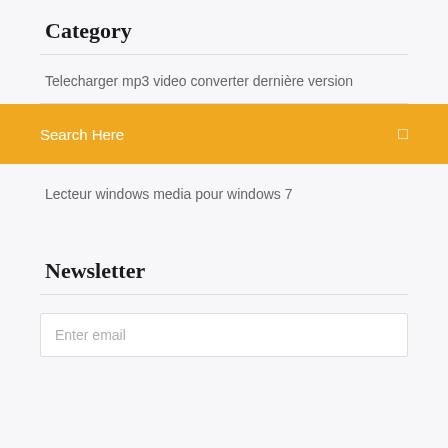Category
Telecharger mp3 video converter dernière version
[Figure (screenshot): Search Here bar with orange/yellow background and a search icon on the right]
Lecteur windows media pour windows 7
Newsletter
Enter email